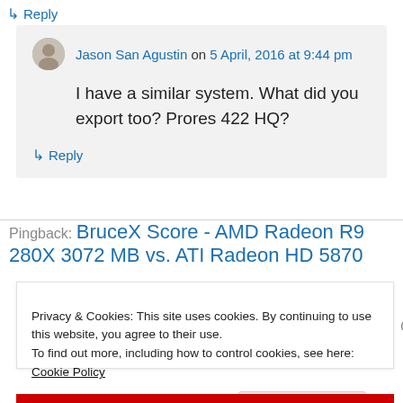↳ Reply
Jason San Agustin on 5 April, 2016 at 9:44 pm
I have a similar system. What did you export too? Prores 422 HQ?
↳ Reply
Pingback: BruceX Score - AMD Radeon R9 280X 3072 MB vs. ATI Radeon HD 5870
Privacy & Cookies: This site uses cookies. By continuing to use this website, you agree to their use.
To find out more, including how to control cookies, see here: Cookie Policy
Close and accept